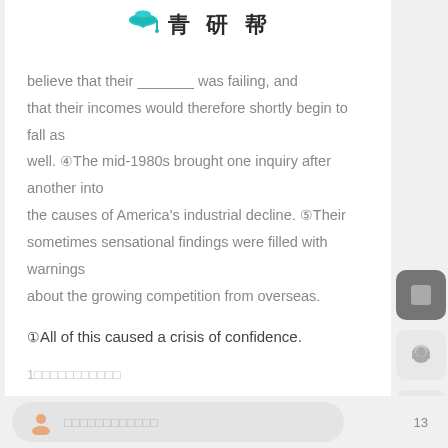[Figure (logo): 青研帮 logo with graduation cap icon and Chinese text]
believe that their _______ was failing, and that their incomes would therefore shortly begin to fall as well. ④The mid-1980s brought one inquiry after another into the causes of America's industrial decline. ⑤Their sometimes sensational findings were filled with warnings about the growing competition from overseas.
①All of this caused a crisis of confidence.
1□□□□□□□□□□□
□□□□□□□□□□□□□□□□□□□□
2□□□□□□□□□□□□□□□□□□□□□□□□
13